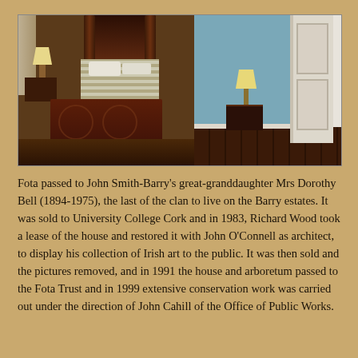[Figure (photo): Two interior photos of Fota House side by side: left shows a bedroom with a dark wood four-poster bed, carved chest at the foot, and a lamp on a nightstand; right shows a hallway with teal blue walls, white woodwork, panelled doors, and dark hardwood floors.]
Fota passed to John Smith-Barry's great-granddaughter Mrs Dorothy Bell (1894-1975), the last of the clan to live on the Barry estates. It was sold to University College Cork and in 1983, Richard Wood took a lease of the house and restored it with John O'Connell as architect, to display his collection of Irish art to the public. It was then sold and the pictures removed, and in 1991 the house and arboretum passed to the Fota Trust and in 1999 extensive conservation work was carried out under the direction of John Cahill of the Office of Public Works.